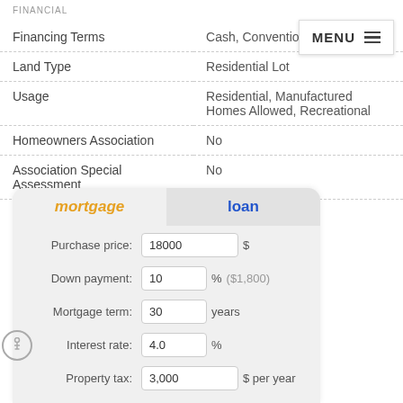FINANCIAL
| Field | Value |
| --- | --- |
| Financing Terms | Cash, Convention… |
| Land Type | Residential Lot |
| Usage | Residential, Manufactured Homes Allowed, Recreational |
| Homeowners Association | No |
| Association Special Assessment | No |
mortgage | loan
Purchase price: 18000 $
Down payment: 10 % ($1,800)
Mortgage term: 30 years
Interest rate: 4.0 %
Property tax: 3,000 $ per year